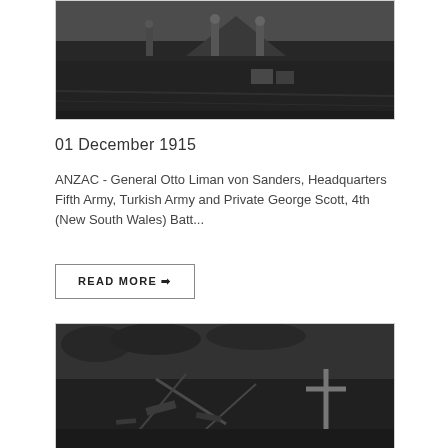[Figure (photo): Black and white historical photograph showing soldiers or people standing in a field near a tent, with equipment on the ground]
01 December 1915
ANZAC - General Otto Liman von Sanders, Headquarters Fifth Army, Turkish Army and Private George Scott, 4th (New South Wales) Batt...
READ MORE →
[Figure (photo): Black and white historical photograph showing debris, wreckage or scattered materials on the ground with a cross visible]